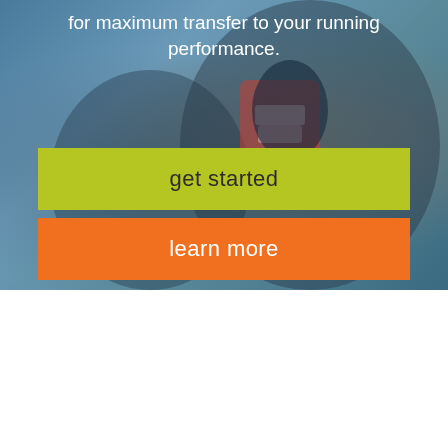[Figure (photo): Background photo of a runner/athlete in a racing vest with a pack, blue sky background. Overlaid with semi-transparent gradient.]
for maximum transfer to your running performance.
get started
learn more
welcome
Hi, I'm Kara Landells,